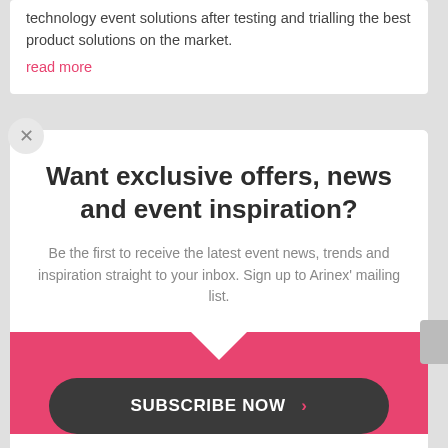technology event solutions after testing and trialling the best product solutions on the market.
read more
Want exclusive offers, news and event inspiration?
Be the first to receive the latest event news, trends and inspiration straight to your inbox. Sign up to Arinex' mailing list.
SUBSCRIBE NOW